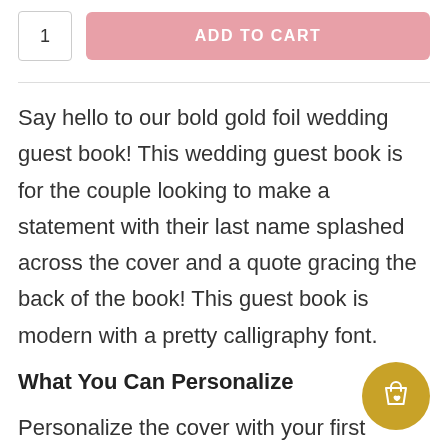[Figure (other): Quantity input box showing '1' and a pink 'ADD TO CART' button]
Say hello to our bold gold foil wedding guest book! This wedding guest book is for the couple looking to make a statement with their last name splashed across the cover and a quote gracing the back of the book! This guest book is modern with a pretty calligraphy font.
What You Can Personalize
Personalize the cover with your first